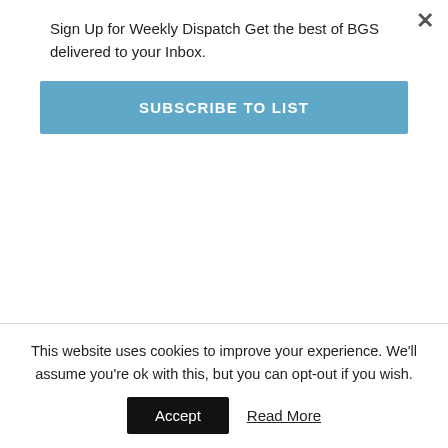Sign Up for Weekly Dispatch Get the best of BGS delivered to your Inbox.
SUBSCRIBE TO LIST
we’re going fast enough, be it to the playground or the school dance or the simple embrace of a best friend, who can run alongside us as we skip rocks and think about the future. We count down days on Advent calendars. We are endlessly impatient. We don’t quite understand nostalgia,
This website uses cookies to improve your experience. We'll assume you're ok with this, but you can opt-out if you wish.
Accept
Read More